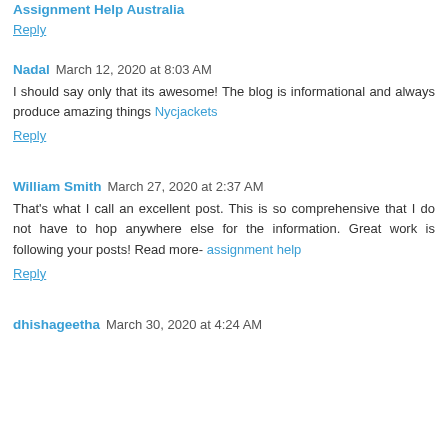Assignment Help Australia
Reply
Nadal  March 12, 2020 at 8:03 AM
I should say only that its awesome! The blog is informational and always produce amazing things Nycjackets
Reply
William Smith  March 27, 2020 at 2:37 AM
That's what I call an excellent post. This is so comprehensive that I do not have to hop anywhere else for the information. Great work is following your posts! Read more- assignment help
Reply
dhishageetha  March 30, 2020 at 4:24 AM